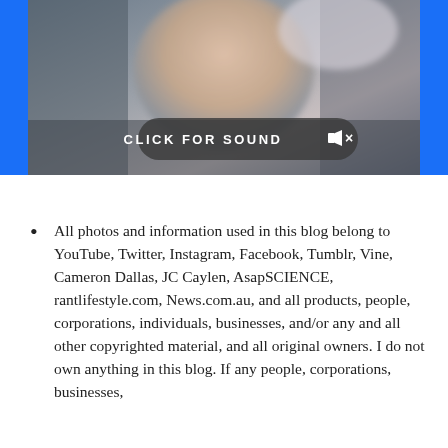[Figure (screenshot): A video screenshot showing a blurry close-up image of a person's face with a dark semi-transparent overlay button reading 'CLICK FOR SOUND' with a muted speaker icon and X symbol, in white text.]
All photos and information used in this blog belong to YouTube, Twitter, Instagram, Facebook, Tumblr, Vine, Cameron Dallas, JC Caylen, AsapSCIENCE, rantlifestyle.com, News.com.au, and all products, people, corporations, individuals, businesses, and/or any and all other copyrighted material, and all original owners. I do not own anything in this blog. If any people, corporations, businesses,